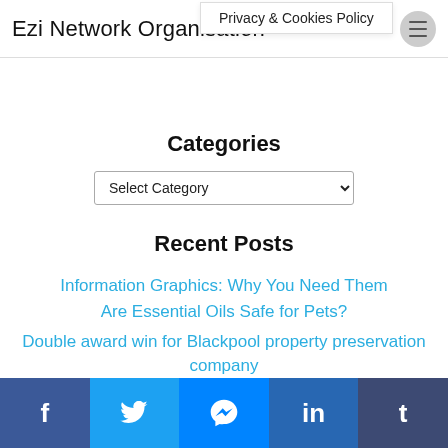Ezi Network Organisation
Privacy & Cookies Policy
Categories
Select Category
Recent Posts
Information Graphics: Why You Need Them
Are Essential Oils Safe for Pets?
Double award win for Blackpool property preservation company
f  Twitter  Messenger  in  t